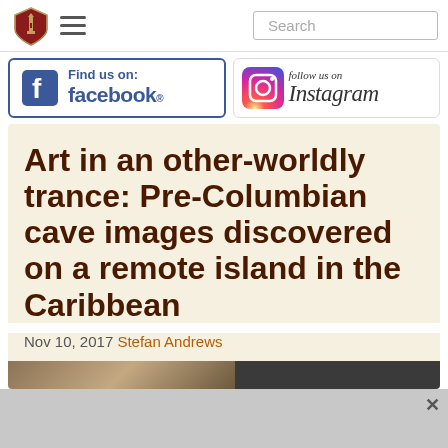[Figure (logo): Website navigation bar with shield logo, hamburger menu icon, and search box]
[Figure (logo): Facebook 'Find us on facebook' banner with blue Facebook logo and text]
[Figure (logo): Instagram 'follow us on Instagram' banner with Instagram camera icon and script text]
Art in an other-worldly trance: Pre-Columbian cave images discovered on a remote island in the Caribbean
Nov 10, 2017 Stefan Andrews